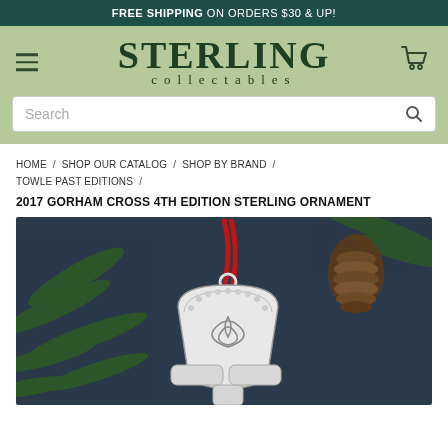FREE SHIPPING ON ORDERS $30 & UP!
[Figure (logo): Sterling Collectables logo with hamburger menu and shopping cart icon on sage green background]
Search
HOME / SHOP OUR CATALOG / SHOP BY BRAND / TOWLE PAST EDITIONS /
2017 GORHAM CROSS 4TH EDITION STERLING ORNAMENT
[Figure (photo): Product photo of a sterling silver Celtic cross ornament with red ribbon, hanging against a background of pine branches and pine cone]